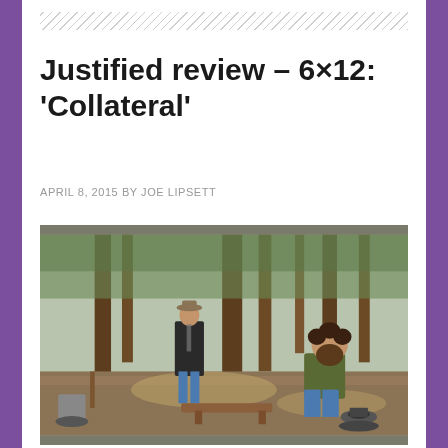Justified review – 6×12: 'Collateral'
APRIL 8, 2015 BY JOE LIPSETT
[Figure (photo): Two men in an outdoor forest/campsite setting. One man stands wearing a hat and dark coat, the other sits on a log by a campfire with cooking pots.]